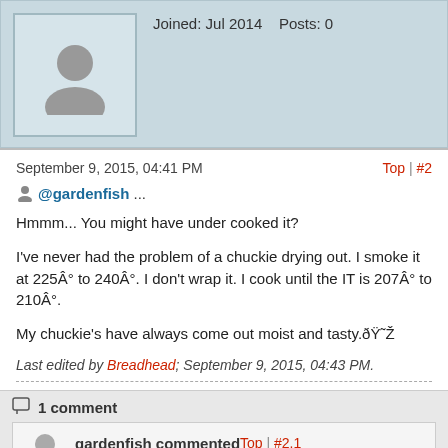Joined: Jul 2014    Posts: 0
September 9, 2015, 04:41 PM
Top | #2
@gardenfish ...
Hmmm... You might have under cooked it?
I've never had the problem of a chuckie drying out. I smoke it at 225Â° to 240Â°. I don't wrap it. I cook until the IT is 207Â° to 210Â°.
My chuckie's have always come out moist and tasty.ðŸ˜Ž
Last edited by Breadhead; September 9, 2015, 04:43 PM.
1 comment
gardenfish commented
September 9, 2015, 06:36 PM
Top | #2.1
I have not cooked a chuck yet. Just wondering if rolling and tying would make for a longer smoke? Or if would even be